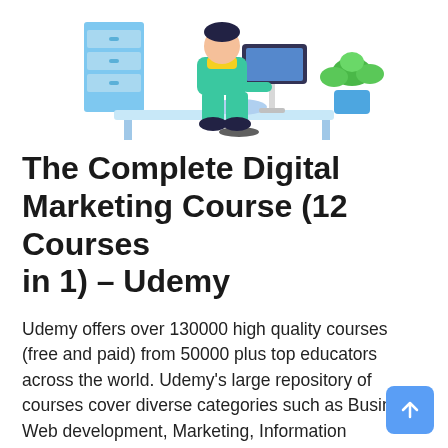[Figure (illustration): Illustration of a person sitting at a desk working on a computer, with a filing cabinet on the left and a plant on the right. Blue and teal color scheme.]
The Complete Digital Marketing Course (12 Courses in 1) – Udemy
Udemy offers over 130000 high quality courses (free and paid) from 50000 plus top educators across the world. Udemy's large repository of courses cover diverse categories such as Business, Web development, Marketing, Information technology and software, Finance and accounting, Designing, Office productivity, Lifestyle and more.